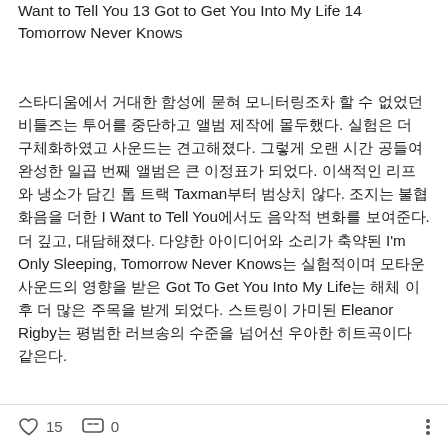Want to Tell You 13 Got to Get You Into My Life 14 Tomorrow Never Knows
스타디움에서 거대한 함성에 묻혀 모니터링조차 할 수 없었던 비틀즈는 투어를 중단하고 앨범 제작에 몰두했다. 실험은 더 구체화하였고 사운드는 견고해졌다. 그렇게 오랜 시간 공들여 완성한 일곱 번째 앨범은 큰 이정표가 되었다. 이색적인 리프와 냉소가 담긴 톱 트랙 Taxman부터 범상치 않다. 조지는 불협화음을 더한 I Want to Tell You에서도 음악적 변화를 보여준다. 더 깊고, 대담해졌다. 다양한 아이디어와 소리가 축약된 I'm Only Sleeping, Tomorrow Never Knows는 실험적이며 모타운 사운드의 영향을 받은 Got To Get You Into My Life는 해체 이후 더 많은 주목을 받게 되었다. 스트링이 가미된 Eleanor Rigby는 평범한 러브송의 수준을 넘어선 우아한 히트곡이다 같은다. 대비하는 소리는...
♡ 15   💬 0